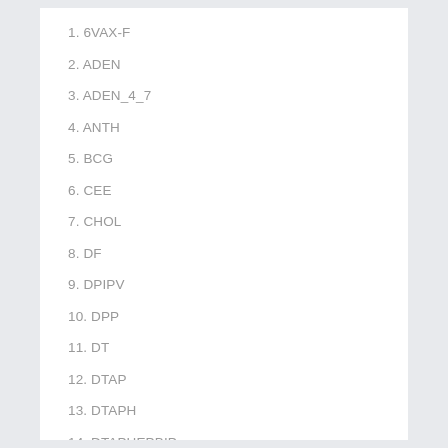1. 6VAX-F
2. ADEN
3. ADEN_4_7
4. ANTH
5. BCG
6. CEE
7. CHOL
8. DF
9. DPIPV
10. DPP
11. DT
12. DTAP
13. DTAPH
14. DTAPHEPBIP